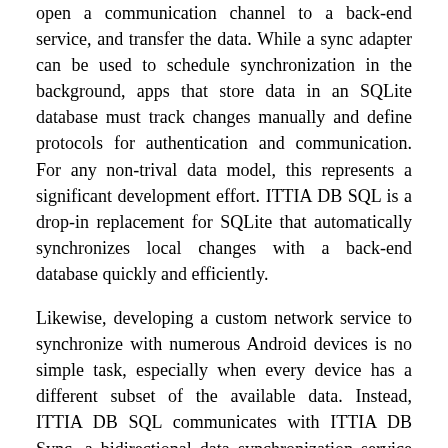open a communication channel to a back-end service, and transfer the data. While a sync adapter can be used to schedule synchronization in the background, apps that store data in an SQLite database must track changes manually and define protocols for authentication and communication. For any non-trival data model, this represents a significant development effort. ITTIA DB SQL is a drop-in replacement for SQLite that automatically synchronizes local changes with a back-end database quickly and efficiently.
Likewise, developing a custom network service to synchronize with numerous Android devices is no simple task, especially when every device has a different subset of the available data. Instead, ITTIA DB SQL communicates with ITTIA DB Sync, a bidirectional data synchronization service for Windows(R) and Linux. ITTIA DB Sync uses a back-end RDBMS, such as Microsoft® SQL Server® or Oracle® Database, to store device data in existing tables and download updates specific to each device.
To enable synchronization, an Android app simply creates similar tables in its local database and designates which tables should send and/or receive changes. The ITTIA DB SQL sync adapter runs in the